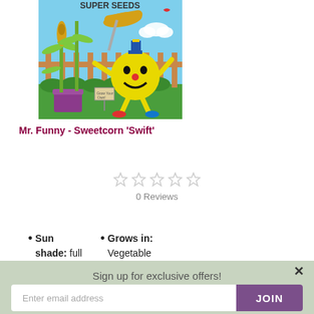[Figure (illustration): Mr. Funny character illustration with sweetcorn plants, labeled 'SUPER SEEDS' at the top. A round yellow cartoon character holding a fork with a corn cob, standing in a garden with corn plants in a purple pot and a wooden fence background.]
Mr. Funny - Sweetcorn 'Swift'
0 Reviews
Sun shade: full sun
Grows in: Vegetable Plot
Sign up for exclusive offers!
Enter email address
JOIN